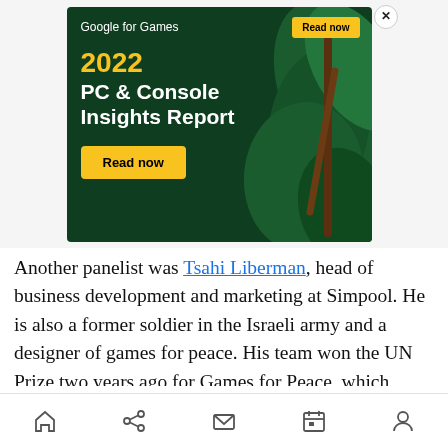[Figure (illustration): Google for Games advertisement banner. Dark green background with illustrated tropical leaves on the right side. Top bar shows 'Google for Games' text in white and a yellow 'Read now' button. Large yellow '2022' and white 'PC & Console Insights Report' text in the center-left. Yellow 'Read now' button below. Close (X) button in top right corner.]
Another panelist was Tsahi Liberman, head of business development and marketing at Simpool. He is also a former soldier in the Israeli army and a designer of games for peace. His team won the UN Prize two years ago for Games for Peace, which
[Figure (infographic): Mobile browser bottom navigation bar with home, share, mail, calendar, and profile icons.]